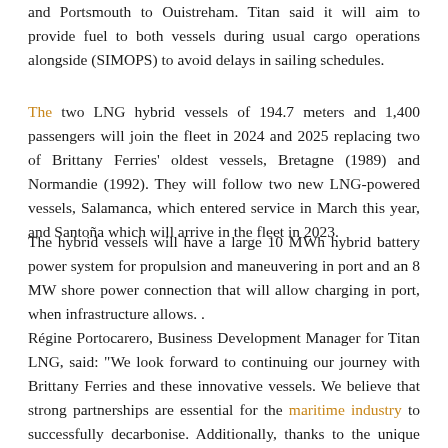and Portsmouth to Ouistreham. Titan said it will aim to provide fuel to both vessels during usual cargo operations alongside (SIMOPS) to avoid delays in sailing schedules.
The two LNG hybrid vessels of 194.7 meters and 1,400 passengers will join the fleet in 2024 and 2025 replacing two of Brittany Ferries' oldest vessels, Bretagne (1989) and Normandie (1992). They will follow two new LNG-powered vessels, Salamanca, which entered service in March this year, and Santoña which will arrive in the fleet in 2023.
The hybrid vessels will have a large 10 MWh hybrid battery power system for propulsion and maneuvering in port and an 8 MW shore power connection that will allow charging in port, when infrastructure allows. .
Régine Portocarero, Business Development Manager for Titan LNG, said: "We look forward to continuing our journey with Brittany Ferries and these innovative vessels. We believe that strong partnerships are essential for the maritime industry to successfully decarbonise. Additionally, thanks to the unique agricultural shareholding structure that underpins Brittany Ferries, we see great potential in the stocks available for local LBM